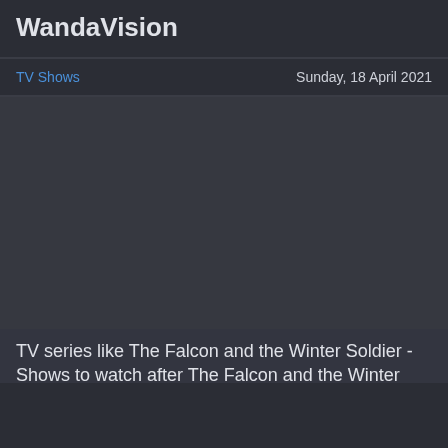WandaVision
TV Shows    Sunday, 18 April 2021
[Figure (photo): Dark-toned image placeholder for WandaVision TV show article]
TV series like The Falcon and the Winter Soldier - Shows to watch after The Falcon and the Winter